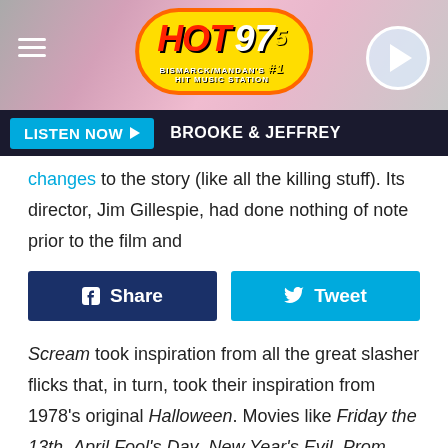HOT 97.5 - Bismarck/Mandan's #1 Hit Music Station
LISTEN NOW ▶  BROOKE & JEFFREY
changes to the story (like all the killing stuff). Its director, Jim Gillespie, had done nothing of note prior to the film and
Share   Tweet
Scream took inspiration from all the great slasher flicks that, in turn, took their inspiration from 1978's original Halloween. Movies like Friday the 13th, April Fool's Day, New Year's Evil, Prom Night, My Bloody Valentine, and Silent Night, Deadly Night all share similar DNA, right down to their one-particular-day-of-the-year titles. You probably already know the basics for this kind of story: A mysterious madman (usually bent on revenge for some years-earlier offense) sets